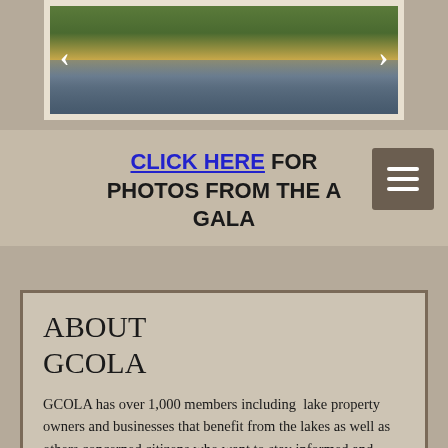[Figure (photo): Lake photo with trees and water at sunset, with left and right navigation arrows overlaid]
CLICK HERE FOR PHOTOS FROM THE GALA
ABOUT GCOLA
GCOLA has over 1,000 members including  lake property owners and businesses that benefit from the lakes as well as others concerned citizens who want to stay informed and make a difference.